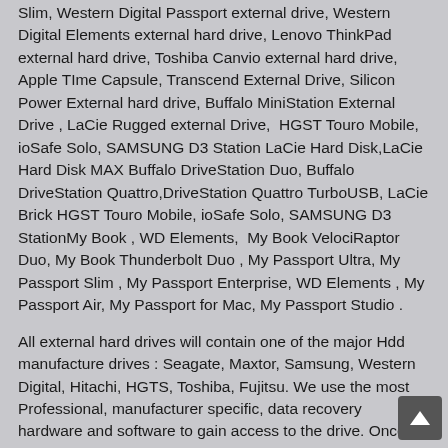Slim, Western Digital Passport external drive, Western Digital Elements external hard drive, Lenovo ThinkPad external hard drive, Toshiba Canvio external hard drive, Apple Time Capsule, Transcend External Drive, Silicon Power External hard drive, Buffalo MiniStation External Drive , LaCie Rugged external Drive,  HGST Touro Mobile, ioSafe Solo, SAMSUNG D3 Station LaCie Hard Disk,LaCie Hard Disk MAX Buffalo DriveStation Duo, Buffalo DriveStation Quattro,DriveStation Quattro TurboUSB, LaCie Brick HGST Touro Mobile, ioSafe Solo, SAMSUNG D3 StationMy Book , WD Elements,  My Book VelociRaptor Duo, My Book Thunderbolt Duo , My Passport Ultra, My Passport Slim , My Passport Enterprise, WD Elements , My Passport Air, My Passport for Mac, My Passport Studio .
All external hard drives will contain one of the major Hdd manufacture drives : Seagate, Maxtor, Samsung, Western Digital, Hitachi, HGTS, Toshiba, Fujitsu. We use the most Professional, manufacturer specific, data recovery hardware and software to gain access to the drive. Once we have access to the drive we forensically image your drive to one of our drives. Once the image is complete we recover your external hard drive data from our drive. For more information about our Brooklyn External hard drive data recovery, click on the the Hard drive recovery button.
Raid array Data recovery for Brooklyn, New York business users, home users and corporate users:
We provide Brooklyn, New York raid data recovery and raid data reconstruction of all software and hardware raid arrays used in